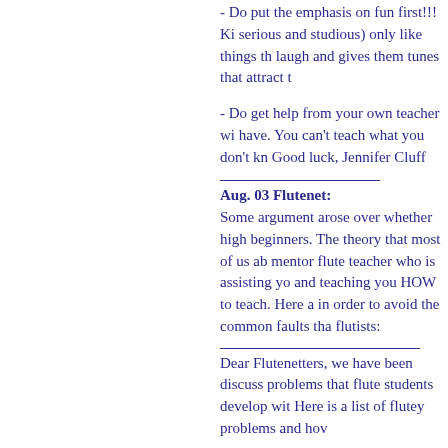- Do put the emphasis on fun first!!! Ki serious and studious) only like things th laugh and gives them tunes that attract t
- Do get help from your own teacher wi have. You can't teach what you don't kn Good luck, Jennifer Cluff
Aug. 03 Flutenet: Some argument arose over whether high beginners. The theory that most of us ab mentor flute teacher who is assisting yo and teaching you HOW to teach. Here a in order to avoid the common faults tha flutists:
Dear Flutenetters, we have been discuss problems that flute students develop wit Here is a list of flutey problems and hov
Re: Typical problems in flute students instruction:
It might be educational for other flute-p